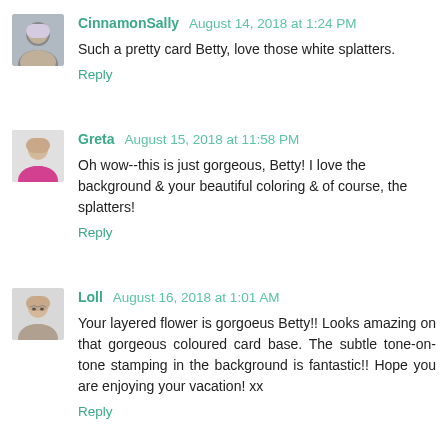CinnamonSally August 14, 2018 at 1:24 PM
Such a pretty card Betty, love those white splatters.
Reply
Greta August 15, 2018 at 11:58 PM
Oh wow--this is just gorgeous, Betty! I love the background & your beautiful coloring & of course, the splatters!
Reply
Loll August 16, 2018 at 1:01 AM
Your layered flower is gorgoeus Betty!! Looks amazing on that gorgeous coloured card base. The subtle tone-on-tone stamping in the background is fantastic!! Hope you are enjoying your vacation! xx
Reply